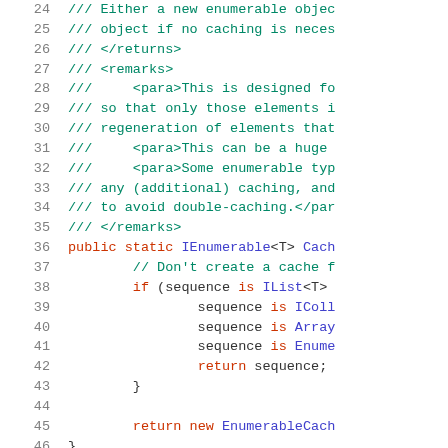[Figure (screenshot): Source code screenshot showing C# code with line numbers 24-46, featuring XML documentation comments (green), keywords (red/pink), and type names (blue/purple) on white background. Code shows a Cache method implementation with IEnumerable<T>.]